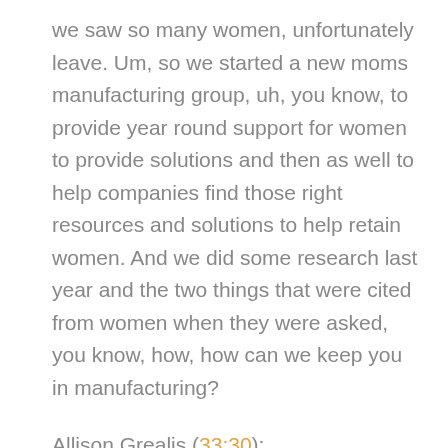we saw so many women, unfortunately leave. Um, so we started a new moms manufacturing group, uh, you know, to provide year round support for women to provide solutions and then as well to help companies find those right resources and solutions to help retain women. And we did some research last year and the two things that were cited from women when they were asked, you know, how, how can we keep you in manufacturing?
Allison Grealis (33:30):
And what's going to be an